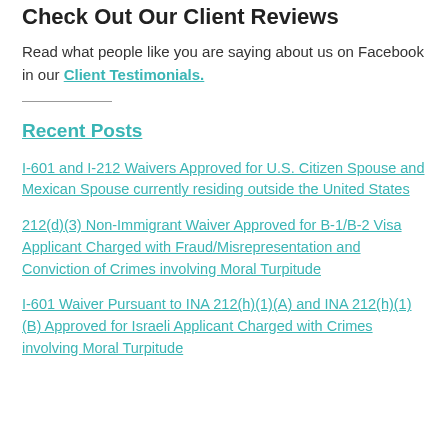Check Out Our Client Reviews
Read what people like you are saying about us on Facebook in our Client Testimonials.
Recent Posts
I-601 and I-212 Waivers Approved for U.S. Citizen Spouse and Mexican Spouse currently residing outside the United States
212(d)(3) Non-Immigrant Waiver Approved for B-1/B-2 Visa Applicant Charged with Fraud/Misrepresentation and Conviction of Crimes involving Moral Turpitude
I-601 Waiver Pursuant to INA 212(h)(1)(A) and INA 212(h)(1)(B) Approved for Israeli Applicant Charged with Crimes involving Moral Turpitude